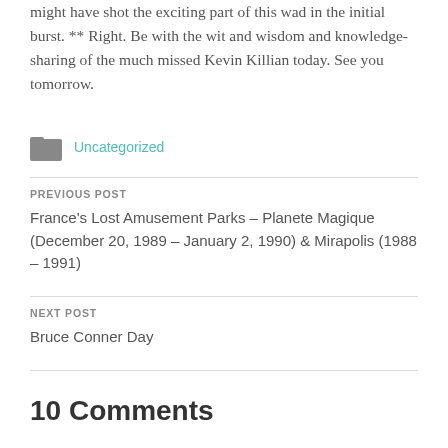might have shot the exciting part of this wad in the initial burst. ** Right. Be with the wit and wisdom and knowledge-sharing of the much missed Kevin Killian today. See you tomorrow.
Uncategorized
PREVIOUS POST
France's Lost Amusement Parks – Planete Magique (December 20, 1989 – January 2, 1990) & Mirapolis (1988 – 1991)
NEXT POST
Bruce Conner Day
10 Comments